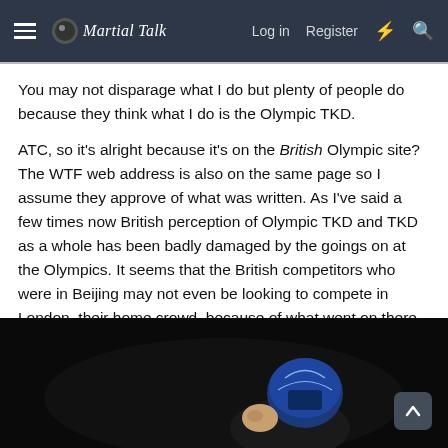Martial Talk — Log in  Register
You may not disparage what I do but plenty of people do because they think what I do is the Olympic TKD.
ATC, so it's alright because it's on the British Olympic site? The WTF web address is also on the same page so I assume they approve of what was written. As I've said a few times now British perception of Olympic TKD and TKD as a whole has been badly damaged by the goings on at the Olympics. It seems that the British competitors who were in Beijing may not even be looking to compete in London, their home crowd, because of what went on there. Confidence in it as a sport has been damaged, it's not as though it was just one incident, there were many.
[Figure (photo): Dark/black image showing a person wearing a blue martial arts helmet, partially visible at the bottom of the page]